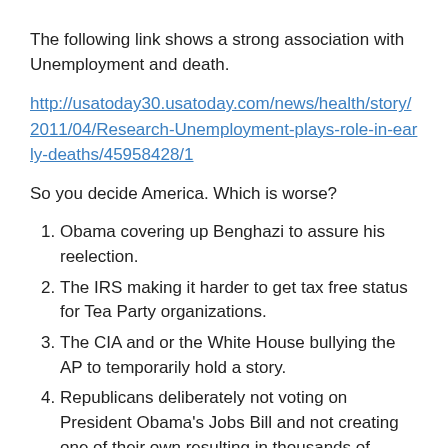The following link shows a strong association with Unemployment and death.
http://usatoday30.usatoday.com/news/health/story/2011/04/Research-Unemployment-plays-role-in-early-deaths/45958428/1
So you decide America. Which is worse?
1. Obama covering up Benghazi to assure his reelection.
2. The IRS making it harder to get tax free status for Tea Party organizations.
3. The CIA and or the White House bullying the AP to temporarily hold a story.
4. Republicans deliberately not voting on President Obama's Jobs Bill and not creating one of their own resulting in thousands of deaths.